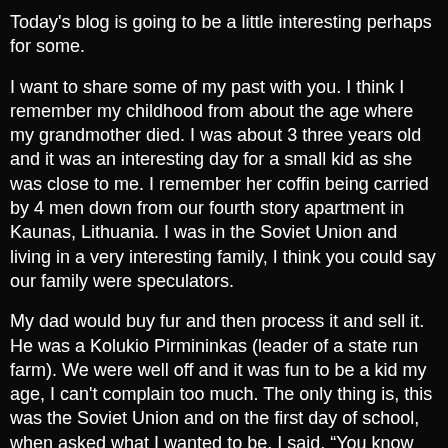Today's blog is going to be a little interesting perhaps for some.
I want to share some of my past with you. I think I remember my childhood from about the age where my grandmother died. I was about 3 three years old and it was an interesting day for a small kid as she was close to me. I remember her coffin being carried by 4 men down from our fourth story apartment in Kaunas, Lithuania. I was in the Soviet Union and living in a very interesting family, I think you could say our family were speculators.
My dad would buy fur and then process it and sell it.  He was a Kolukio Pirmininkas (leader of a state run farm). We were well off and it was fun to be a kid my age, I can't complain too much. The only thing is, this was the Soviet Union and on the first day of school, when asked what I wanted to be, I said, “You know what? I want to be a priest.” Now what I did was a big no, no.  It was not something for a kid to say that